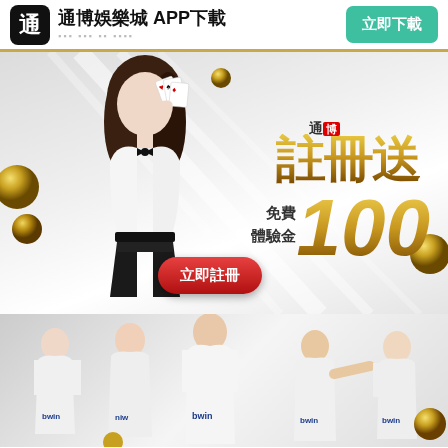通博娛樂城 APP下載
立即下載
[Figure (illustration): Promotional banner showing a young woman in formal attire holding playing cards, with gold decorative balls, Chinese text '通博 註冊送 免費體驗金 100' and a red button '立即註冊']
[Figure (photo): Soccer players in white Real Madrid jerseys with bwin sponsor logos, posed in action stances against a light background]